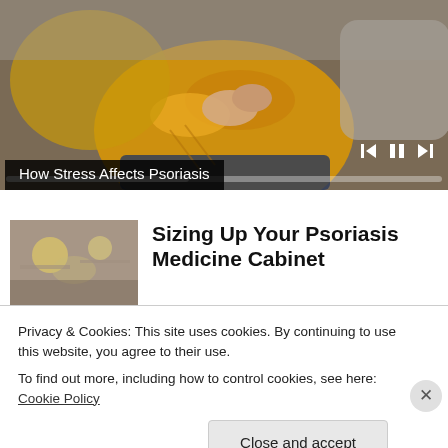[Figure (screenshot): Video player showing a person in a yellow sweater scratching their arm, sitting on a couch. Video controls visible including skip back, pause, skip forward buttons and a progress bar.]
How Stress Affects Psoriasis
[Figure (photo): Thumbnail image of a pharmacy or medicine cabinet store interior with blurred background lighting.]
Sizing Up Your Psoriasis Medicine Cabinet
Privacy & Cookies: This site uses cookies. By continuing to use this website, you agree to their use.
To find out more, including how to control cookies, see here: Cookie Policy
Close and accept